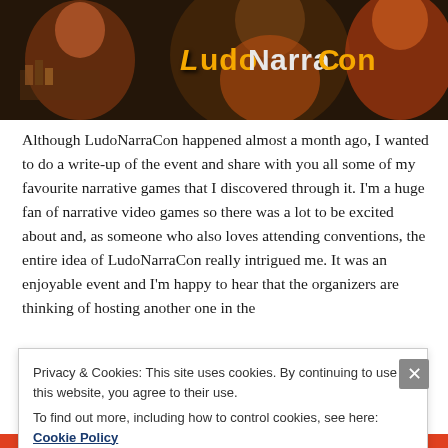[Figure (illustration): LudoNarraCon banner image showing illustrated characters at a convention desk with the LudoNarraCon logo in yellow-orange stylized text on a dark background.]
Although LudoNarraCon happened almost a month ago, I wanted to do a write-up of the event and share with you all some of my favourite narrative games that I discovered through it. I'm a huge fan of narrative video games so there was a lot to be excited about and, as someone who also loves attending conventions, the entire idea of LudoNarraCon really intrigued me. It was an enjoyable event and I'm happy to hear that the organizers are thinking of hosting another one in the
Privacy & Cookies: This site uses cookies. By continuing to use this website, you agree to their use.
To find out more, including how to control cookies, see here: Cookie Policy
Close and accept